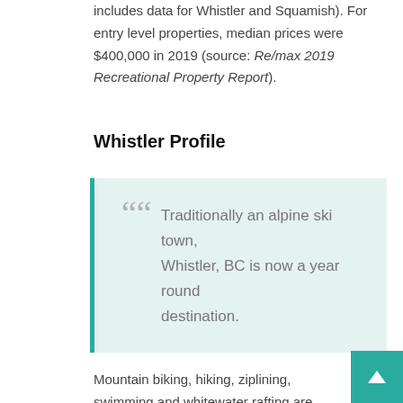includes data for Whistler and Squamish). For entry level properties, median prices were $400,000 in 2019 (source: Re/max 2019 Recreational Property Report).
Whistler Profile
Traditionally an alpine ski town, Whistler, BC is now a year round destination.
Mountain biking, hiking, ziplining, swimming and whitewater rafting are just a sampling of the spring